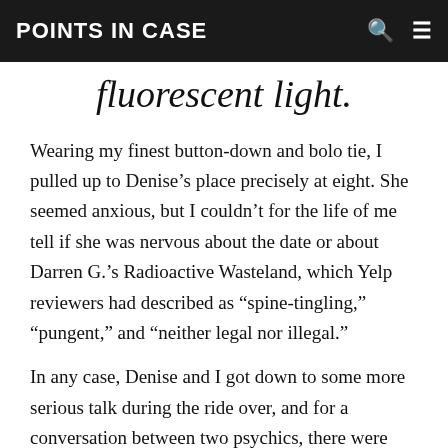POINTS IN CASE
fluorescent light.
Wearing my finest button-down and bolo tie, I pulled up to Denise's place precisely at eight. She seemed anxious, but I couldn't for the life of me tell if she was nervous about the date or about Darren G.'s Radioactive Wasteland, which Yelp reviewers had described as “spine-tingling,” “pungent,” and “neither legal nor illegal.”
In any case, Denise and I got down to some more serious talk during the ride over, and for a conversation between two psychics, there were quite